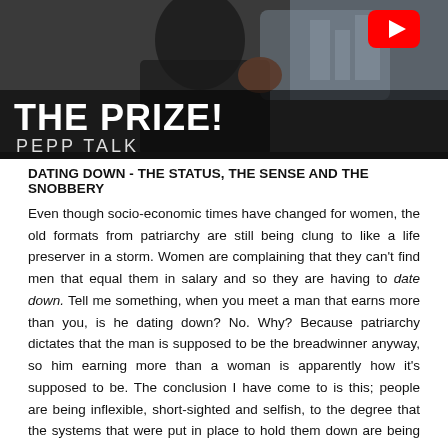[Figure (screenshot): YouTube video thumbnail showing a person in a car, with large white bold text 'THE PRIZE!' and subtitle 'PEPP TALK', YouTube play button visible in top right corner]
DATING DOWN - THE STATUS, THE SENSE AND THE SNOBBERY
Even though socio-economic times have changed for women, the old formats from patriarchy are still being clung to like a life preserver in a storm. Women are complaining that they can't find men that equal them in salary and so they are having to date down. Tell me something, when you meet a man that earns more than you, is he dating down? No. Why? Because patriarchy dictates that the man is supposed to be the breadwinner anyway, so him earning more than a woman is apparently how it's supposed to be. The conclusion I have come to is this; people are being inflexible, short-sighted and selfish, to the degree that the systems that were put in place to hold them down are being adored (in part) if it means they can either be mercilessly in charge (MEN), get something for nothing (WOMEN) or forever be served (MEN & WOMEN). We have entered